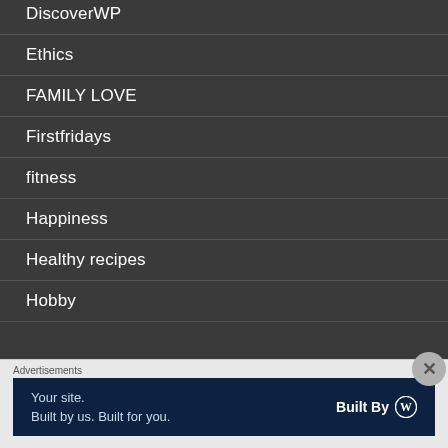DiscoverWP
Ethics
FAMILY LOVE
Firstfridays
fitness
Happiness
Healthy recipes
Hobby
Advertisements
[Figure (infographic): WordPress advertisement banner: 'Your site. Built by us. Built for you.' with Built By WordPress logo]